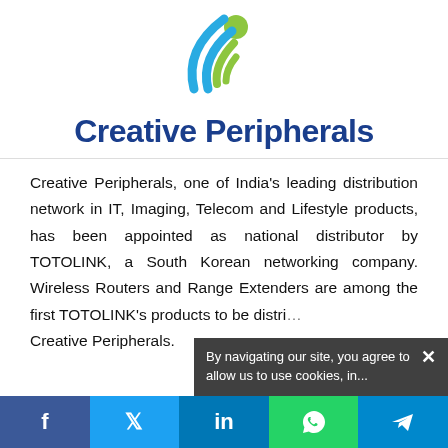[Figure (logo): Creative Peripherals logo with blue and green wifi/signal icon above the text 'Creative Peripherals' in bold dark blue]
Creative Peripherals, one of India's leading distribution network in IT, Imaging, Telecom and Lifestyle products, has been appointed as national distributor by TOTOLINK, a South Korean networking company. Wireless Routers and Range Extenders are among the first TOTOLINK's products to be distri... Creative Peripherals.
By navigating our site, you agree to allow us to use cookies, in...